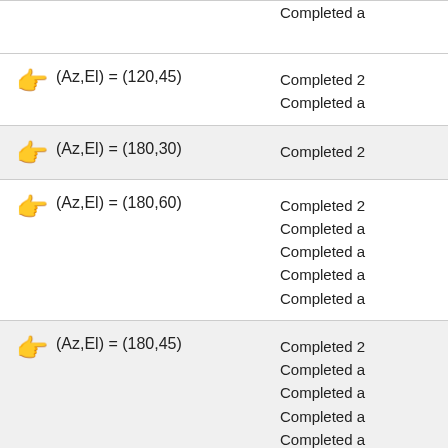(Az,El) = (120,45) — Completed 2, Completed a
(Az,El) = (180,30) — Completed 2
(Az,El) = (180,60) — Completed 2, Completed a, Completed a, Completed a, Completed a
(Az,El) = (180,45) — Completed 2, Completed a, Completed a, Completed a, Completed a
(Az,El) = (180,75) — Completed 2